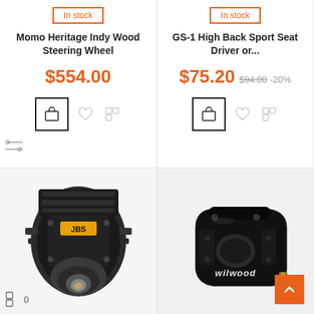In stock
Momo Heritage Indy Wood Steering Wheel
$554.00
In stock
GS-1 High Back Sport Seat Driver or...
$75.20 $94.00 -20%
Reduced price
[Figure (photo): Black automotive transmission/supercharger unit with JBS branding]
[Figure (photo): Black Wilwood brake caliper on white background]